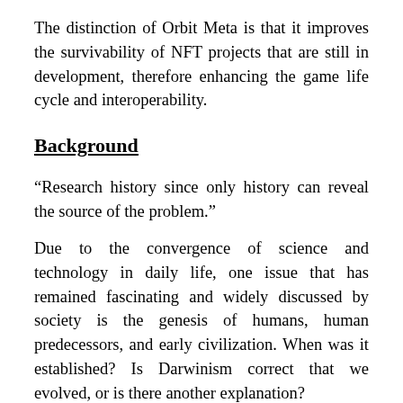The distinction of Orbit Meta is that it improves the survivability of NFT projects that are still in development, therefore enhancing the game life cycle and interoperability.
Background
“Research history since only history can reveal the source of the problem.”
Due to the convergence of science and technology in daily life, one issue that has remained fascinating and widely discussed by society is the genesis of humans, human predecessors, and early civilization. When was it established? Is Darwinism correct that we evolved, or is there another explanation?
Vincent, a representative of the younger generation interested in the origins of human society, has traveled across the years in search of answers to questions veiled by the dust of time. Orbit